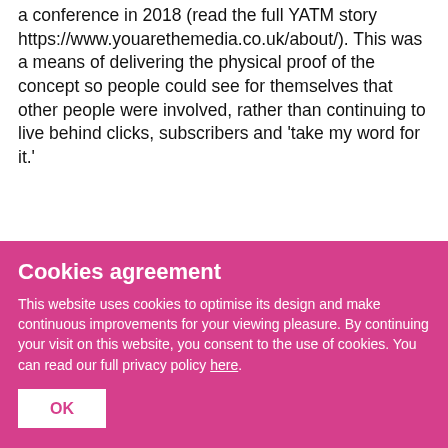a conference in 2018 (read the full YATM story https://www.youarethemedia.co.uk/about/). This was a means of delivering the physical proof of the concept so people could see for themselves that other people were involved, rather than continuing to live behind clicks, subscribers and 'take my word for it.'
Cookies agreement
This website uses cookies to optimise its design and make continuous improvements for your viewing pleasure. By continuing your visit on this website, you consent to the use of cookies. You can read our full privacy policy here.